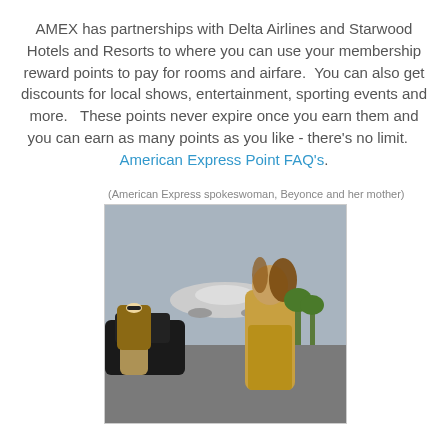AMEX has partnerships with Delta Airlines and Starwood Hotels and Resorts to where you can use your membership reward points to pay for rooms and airfare.  You can also get discounts for local shows, entertainment, sporting events and more.   These points never expire once you earn them and you can earn as many points as you like - there's no limit.    American Express Point FAQ's.
(American Express spokeswoman, Beyonce and her mother)
[Figure (photo): Photo of American Express spokeswoman Beyonce and her mother standing near a private jet on a tarmac. Beyonce is wearing a gold dress and her mother is wearing a leopard print coat.]